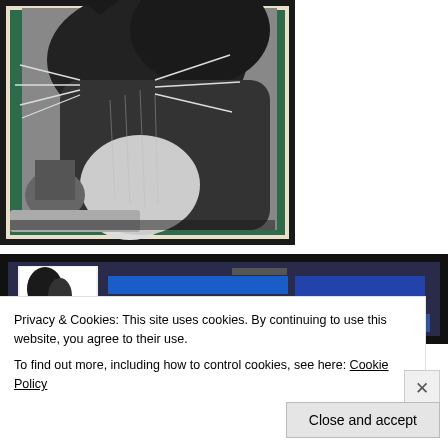[Figure (photo): Black and white photograph of a cat with prominent whiskers, mounted on a green backing with a dark frame border. The cat appears to be looking upward, with white chest fur visible.]
[Figure (screenshot): Partial screenshot of a webpage showing a colorful banner/header with blue and other colors, partially obscured by a cookie consent banner.]
Privacy & Cookies: This site uses cookies. By continuing to use this website, you agree to their use.
To find out more, including how to control cookies, see here: Cookie Policy
Close and accept